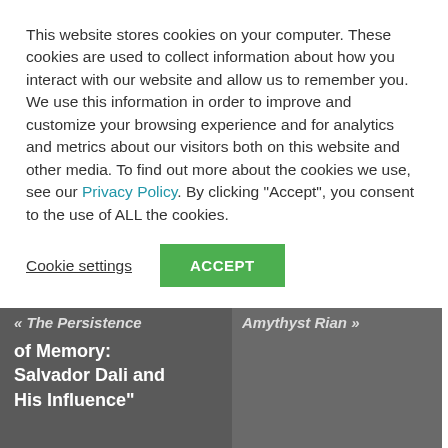This website stores cookies on your computer. These cookies are used to collect information about how you interact with our website and allow us to remember you. We use this information in order to improve and customize your browsing experience and for analytics and metrics about our visitors both on this website and other media. To find out more about the cookies we use, see our Privacy Policy. By clicking "Accept", you consent to the use of ALL the cookies.
Cookie settings
ACCEPT
« The Persistence of Memory: Salvador Dali and His Influence"
Amythyst Rian »